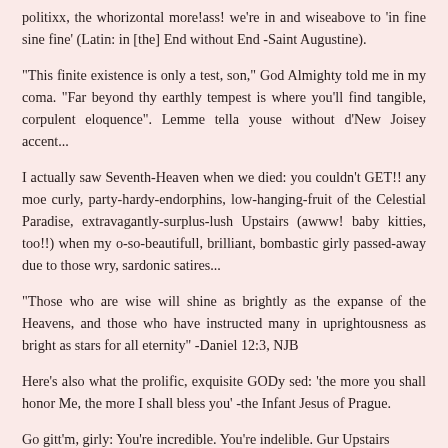politixx, the whorizontal more!ass! we're in and wiseabove to 'in fine sine fine' (Latin: in [the] End without End -Saint Augustine).
"This finite existence is only a test, son," God Almighty told me in my coma. "Far beyond thy earthly tempest is where you'll find tangible, corpulent eloquence". Lemme tella youse without d'New Joisey accent...
I actually saw Seventh-Heaven when we died: you couldn't GET!! any moe curly, party-hardy-endorphins, low-hanging-fruit of the Celestial Paradise, extravagantly-surplus-lush Upstairs (awww! baby kitties, too!!) when my o-so-beautifull, brilliant, bombastic girly passed-away due to those wry, sardonic satires...
"Those who are wise will shine as brightly as the expanse of the Heavens, and those who have instructed many in uprightousness as bright as stars for all eternity" -Daniel 12:3, NJB
Here's also what the prolific, exquisite GODy sed: 'the more you shall honor Me, the more I shall bless you' -the Infant Jesus of Prague.
Go gitt'm, girly: You're incredible. You're indelible. Gur Upstairs